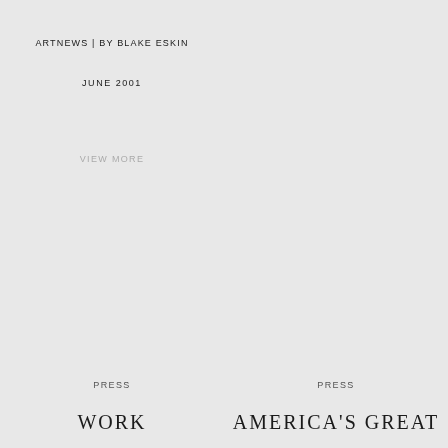ARTNEWS | BY BLAKE ESKIN
JUNE 2001
VIEW MORE
CRISSY FIELD
ARTINFO
JUNE 2013
DOWNLOAD PDF
VIEW MORE
PRESS
PRESS
WORK
AMERICA'S GREAT